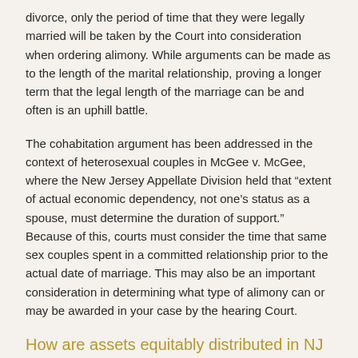divorce, only the period of time that they were legally married will be taken by the Court into consideration when ordering alimony. While arguments can be made as to the length of the marital relationship, proving a longer term that the legal length of the marriage can be and often is an uphill battle.
The cohabitation argument has been addressed in the context of heterosexual couples in McGee v. McGee, where the New Jersey Appellate Division held that “extent of actual economic dependency, not one’s status as a spouse, must determine the duration of support.” Because of this, courts must consider the time that same sex couples spent in a committed relationship prior to the actual date of marriage. This may also be an important consideration in determining what type of alimony can or may be awarded in your case by the hearing Court.
How are assets equitably distributed in NJ same sex divorces?
New Jersey is an equitable distribution state, which means that upon divorce, marital assets are divided in a way that is “fair” to both spouses. In New Jersey, equitable distribution